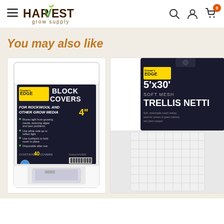Harvest Grow Supply — navigation header with hamburger menu, logo, search, account, and cart icons
You may also like
[Figure (photo): Grower's Edge Block Covers product — white resealable bag containing 4-inch block covers for rockwool and other grow media, contains 40 covers, black label with product details and bullet points]
[Figure (photo): Grower's Edge 5'x30' Soft Mesh Trellis Netting product — partial view showing dark label and white mesh netting bag]